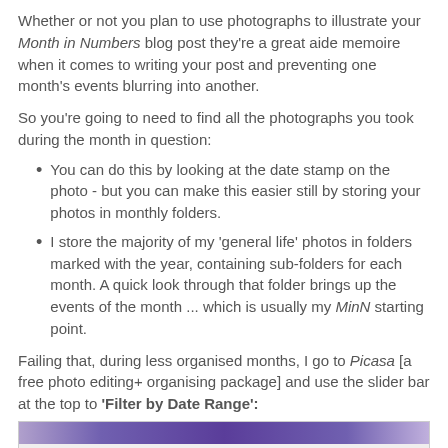Whether or not you plan to use photographs to illustrate your Month in Numbers blog post they're a great aide memoire when it comes to writing your post and preventing one month's events blurring into another.
So you're going to need to find all the photographs you took during the month in question:
You can do this by looking at the date stamp on the photo - but you can make this easier still by storing your photos in monthly folders.
I store the majority of my 'general life' photos in folders marked with the year, containing sub-folders for each month. A quick look through that folder brings up the events of the month ... which is usually my MinN starting point.
Failing that, during less organised months, I go to Picasa [a free photo editing+ organising package] and use the slider bar at the top to 'Filter by Date Range':
[Figure (screenshot): Screenshot of Picasa application showing the toolbar with purple gradient header, Tools and Help menu items, and a 'Filter by date range' slider bar at the top.]